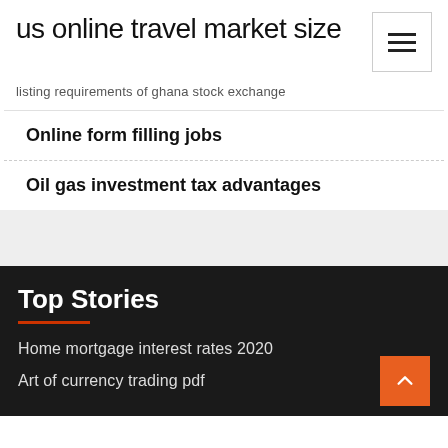us online travel market size
listing requirements of ghana stock exchange
Online form filling jobs
Oil gas investment tax advantages
Top Stories
Home mortgage interest rates 2020
Art of currency trading pdf